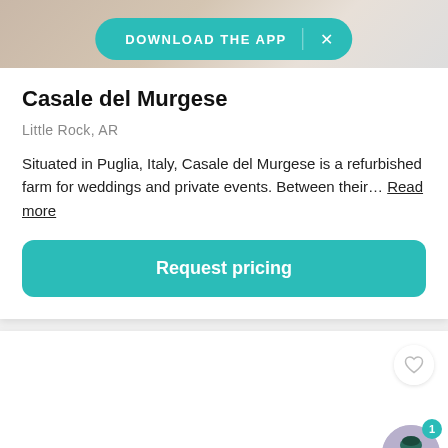[Figure (screenshot): Top portion of a venue listing page showing a photo background with a teal 'DOWNLOAD THE APP' banner overlay with an X close button]
Casale del Murgese
Little Rock, AR
Situated in Puglia, Italy, Casale del Murgese is a refurbished farm for weddings and private events. Between their… Read more
Request pricing
[Figure (screenshot): Bottom portion showing the start of a second venue card with a heart/favorite icon and a chat avatar with badge showing 1 notification]